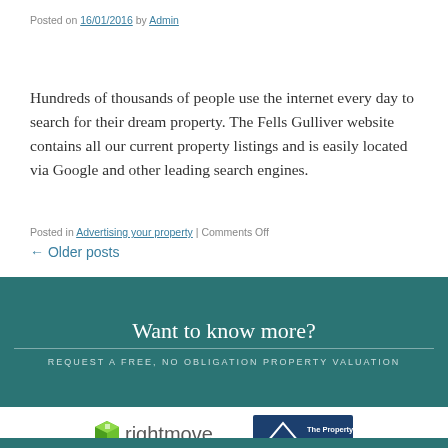Posted on 16/01/2016 by Admin
Hundreds of thousands of people use the internet every day to search for their dream property. The Fells Gulliver website contains all our current property listings and is easily located via Google and other leading search engines.
Posted in Advertising your property | Comments Off
← Older posts
Want to know more?
REQUEST A FREE, NO OBLIGATION PROPERTY VALUATION
[Figure (logo): Rightmove logo and The Property Ombudsman logo side by side]